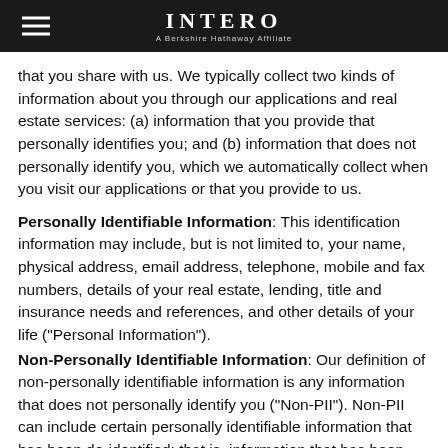INTERO — A Berkshire Hathaway Affiliate
that you share with us. We typically collect two kinds of information about you through our applications and real estate services: (a) information that you provide that personally identifies you; and (b) information that does not personally identify you, which we automatically collect when you visit our applications or that you provide to us.
Personally Identifiable Information: This identification information may include, but is not limited to, your name, physical address, email address, telephone, mobile and fax numbers, details of your real estate, lending, title and insurance needs and references, and other details of your life ("Personal Information").
Non-Personally Identifiable Information: Our definition of non-personally identifiable information is any information that does not personally identify you ("Non-PII"). Non-PII can include certain personally identifiable information that has been de-identified; that is, information that has been rendered anonymous by a de-identification process. We obtain Non-PII about you from information that you affirmatively provide to us, either separately or together with your personally identifiable